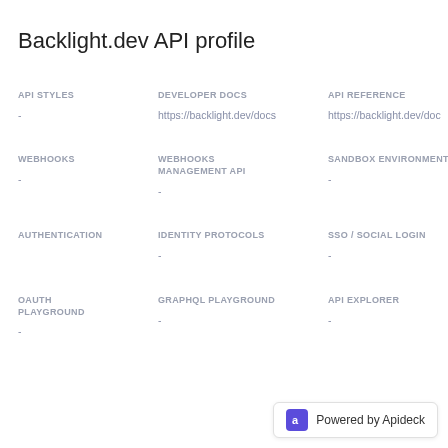Backlight.dev API profile
| API STYLES | DEVELOPER DOCS | API REFERENCE |
| --- | --- | --- |
| - | https://backlight.dev/docs | https://backlight.dev/doc... |
| WEBHOOKS | WEBHOOKS MANAGEMENT API | SANDBOX ENVIRONMENT |
| --- | --- | --- |
| - | - | - |
| AUTHENTICATION | IDENTITY PROTOCOLS | SSO / SOCIAL LOGIN |
| --- | --- | --- |
|  | - | - |
| OAUTH PLAYGROUND | GRAPHQL PLAYGROUND | API EXPLORER |
| --- | --- | --- |
| - | - | - |
Powered by Apideck